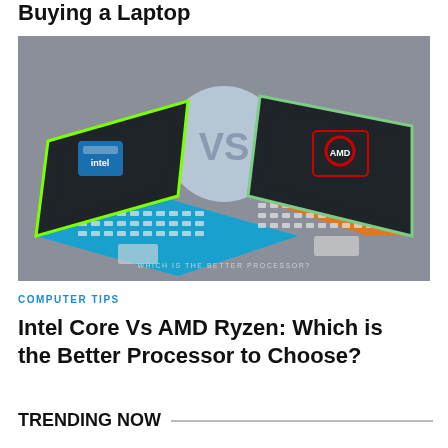Buying a Laptop
[Figure (illustration): Two isometric laptops facing each other — left one is blue with an Intel chip on screen, right one is orange with an AMD Ryzen chip on screen — with a large 'VS' circle in the middle and text 'WHICH IS THE BETTER PROCESSOR?' at the bottom. Gray background.]
COMPUTER TIPS
Intel Core Vs AMD Ryzen: Which is the Better Processor to Choose?
TRENDING NOW